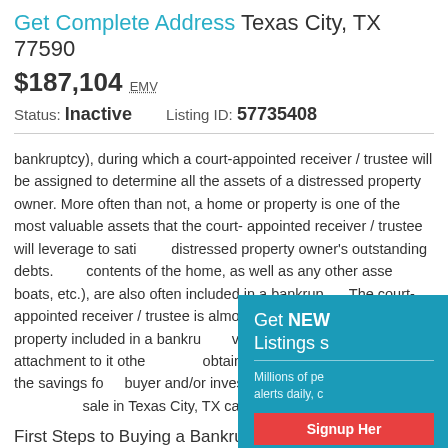Get Complete Address Texas City, TX 77590
$187,104 EMV
Status: Inactive    Listing ID: 57735408
bankruptcy), during which a court-appointed receiver / trustee will be assigned to determine all the assets of a distressed property owner. More often than not, a home or property is one of the most valuable assets that the court-appointed receiver / trustee will leverage to satisfy a distressed property owner's outstanding debts. The contents of the home, as well as any other assets (cars, boats, etc.), are also often included in a bankruptcy. The court-appointed receiver / trustee is almost always motivated to sell a property included in a bankruptcy very fast -- there is no real attachment to it other than to obtain funds to pay off debts. And the savings for a buyer and/or investor looking to buy bankruptcy homes for sale in Texas City, TX can be tremendous.
[Figure (infographic): Popup overlay with cyan/teal background. Title: Get NEW Listings s... Subtitle: Millions of pe... alerts daily, c... Signup Here button (red). No Thanks link.]
First Steps to Buying a Bankruptcy...